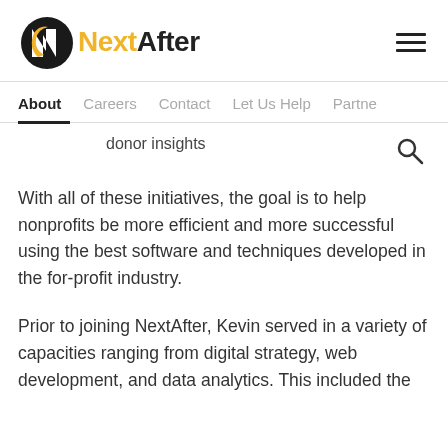NextAfter
About   Careers   Contact   Let Us Help   Partne
donor insights
With all of these initiatives, the goal is to help nonprofits be more efficient and more successful using the best software and techniques developed in the for-profit industry.
Prior to joining NextAfter, Kevin served in a variety of capacities ranging from digital strategy, web development, and data analytics. This included the